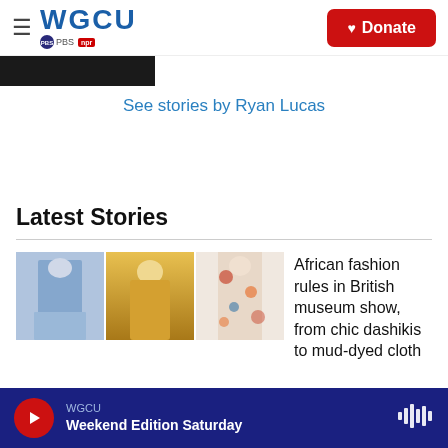WGCU PBS NPR — Donate
[Figure (photo): Partial thumbnail strip of dark/black image]
See stories by Ryan Lucas
Latest Stories
[Figure (photo): Three fashion photos: blue outfit, yellow outfit, floral outfit. Story: African fashion rules in British museum show, from chic dashikis to mud-dyed cloth]
African fashion rules in British museum show, from chic dashikis to mud-dyed cloth
WGCU — Weekend Edition Saturday